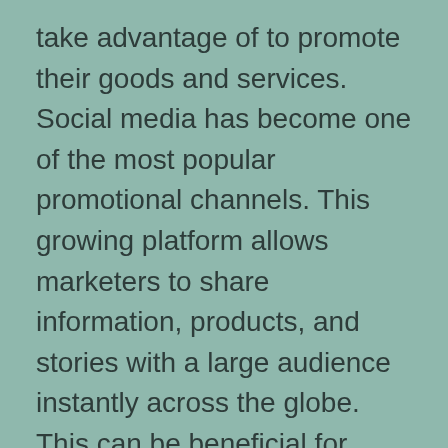take advantage of to promote their goods and services. Social media has become one of the most popular promotional channels. This growing platform allows marketers to share information, products, and stories with a large audience instantly across the globe. This can be beneficial for brand building, product promotions, and advertising campaigns.
Social media can be utilized to generate immediate sales leads. Twitter, Facebook, LinkedIn, and YouTube are just some of the many popular channels to tap into. With millions of users accessing these sites on a